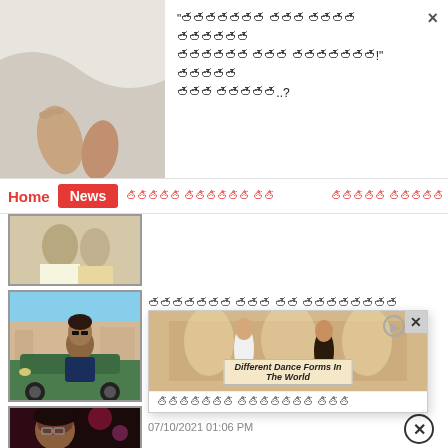[Figure (screenshot): Top popup overlay showing a partial image of feet/legs on white fabric on the left, and Telugu-language headline text on the right with a close (×) button]
Home  News  [Telugu nav links]
[Figure (photo): Article thumbnail: person sitting on a vintage green car, wearing dark blue jacket]
[Telugu text headline for article about actor] 07/10/2021 01:32 PM
[Figure (screenshot): Video popup overlay: 'Different Dance Forms In The World' with dancers image, close button at top right]
[Figure (photo): Article thumbnail: woman with glasses in dark/reddish lighting]
[Telugu headline]!!-[Telugu] 5 [Telugu]!! 07/10/2021 01:06 PM